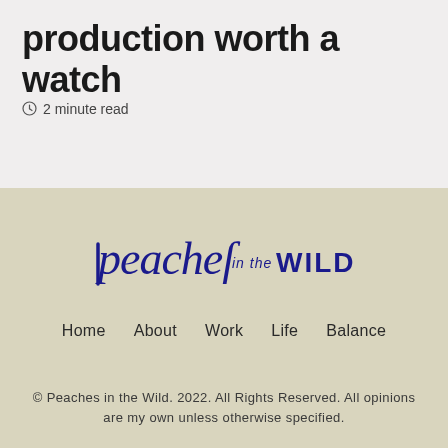production worth a watch
2 minute read
[Figure (logo): Peaches in the Wild logo in dark navy blue handwritten/brush script style]
Home
About
Work
Life
Balance
© Peaches in the Wild. 2022. All Rights Reserved. All opinions are my own unless otherwise specified.